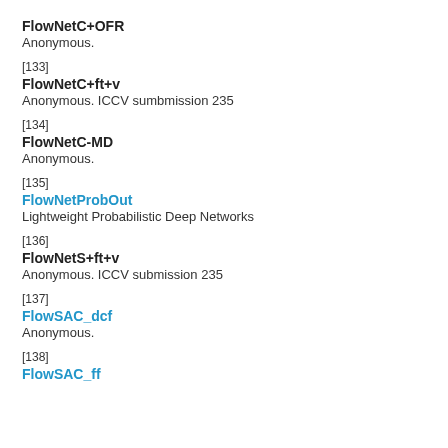FlowNetC+OFR
Anonymous.
[133]
FlowNetC+ft+v
Anonymous. ICCV sumbmission 235
[134]
FlowNetC-MD
Anonymous.
[135]
FlowNetProbOut
Lightweight Probabilistic Deep Networks
[136]
FlowNetS+ft+v
Anonymous. ICCV submission 235
[137]
FlowSAC_dcf
Anonymous.
[138]
FlowSAC_ff